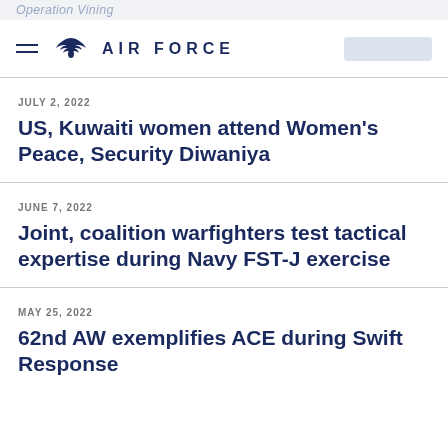Operation Vining
AIR FORCE
JULY 2, 2022
US, Kuwaiti women attend Women's Peace, Security Diwaniya
JUNE 7, 2022
Joint, coalition warfighters test tactical expertise during Navy FST-J exercise
MAY 25, 2022
62nd AW exemplifies ACE during Swift Response